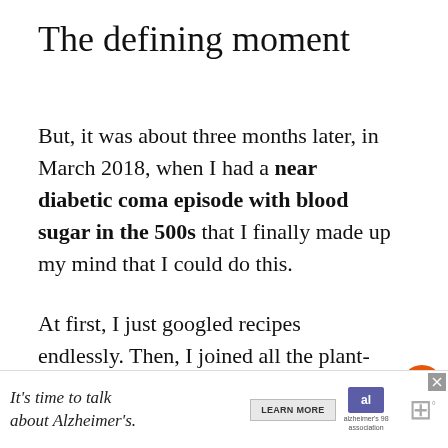The defining moment
But, it was about three months later, in March 2018, when I had a near diabetic coma episode with blood sugar in the 500s that I finally made up my mind that I could do this.
At first, I just googled recipes endlessly. Then, I joined all the plant-based Facebook groups I could find and quietly observed others and their successes.
Finally, I decided to start and just jump in he
[Figure (other): Advertisement banner: It's time to talk about Alzheimer's. with Learn More button and Alzheimer's Association logo]